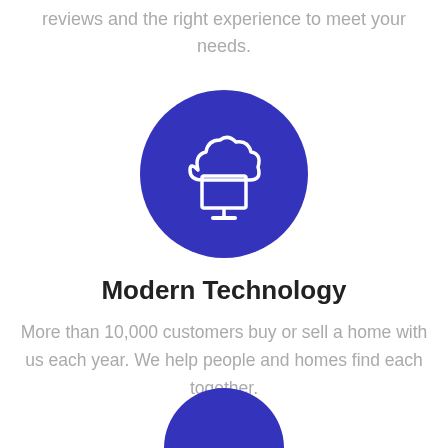reviews and the right experience to meet your needs.
[Figure (illustration): Blue circle with white cloud and monitor/computer screen icon]
Modern Technology
More than 10,000 customers buy or sell a home with us each year. We help people and homes find each together.
[Figure (illustration): Partially visible blue circle at bottom of page]